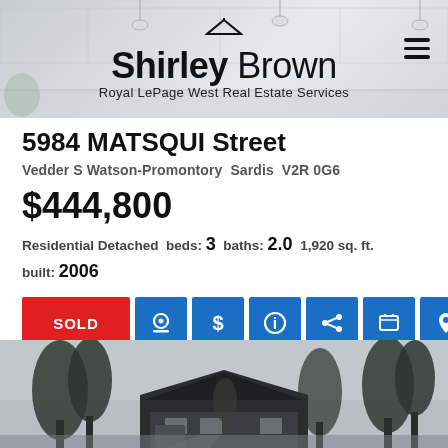[Figure (logo): Shirley Brown Royal LePage West Real Estate Services logo on kitchen banner background]
5984 MATSQUI Street
Vedder S Watson-Promontory  Sardis  V2R 0G6
$444,800
Residential Detached  beds: 3  baths: 2.0  1,920 sq. ft.
built: 2006
SOLD
Details  Photos  Map
[Figure (photo): Exterior photo of residential detached house at 5984 MATSQUI Street, Sardis]